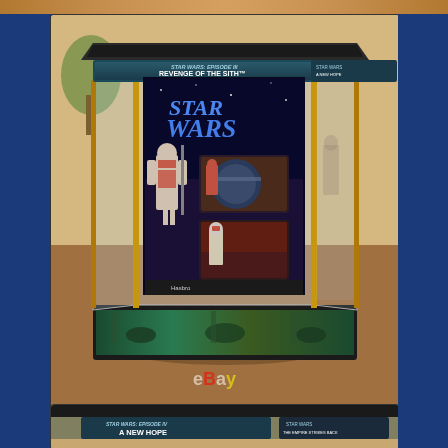[Figure (photo): Star Wars Episode III Revenge of the Sith display case/diorama with action figures inside a clear acrylic hexagonal rotating display case. The case features Star Wars branding on the top header panel reading 'STAR WARS: EPISODE III REVENGE OF THE SITH'. Inside is a Star Wars A New Hope vintage-style card back with action figures. An eBay watermark is visible at the bottom of the image.]
[Figure (photo): Second photo showing close-up of the bottom portion of the Star Wars display case, with header panel reading 'STAR WARS: EPISODE IV A NEW HOPE' and another panel partially visible.]